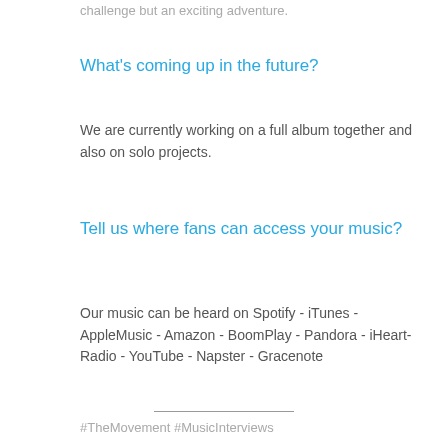challenge but an exciting adventure.
What's coming up in the future?
We are currently working on a full album together and also on solo projects.
Tell us where fans can access your music?
Our music can be heard on Spotify - iTunes - AppleMusic - Amazon - BoomPlay - Pandora - iHeart-Radio - YouTube - Napster - Gracenote
#TheMovement #MusicInterviews